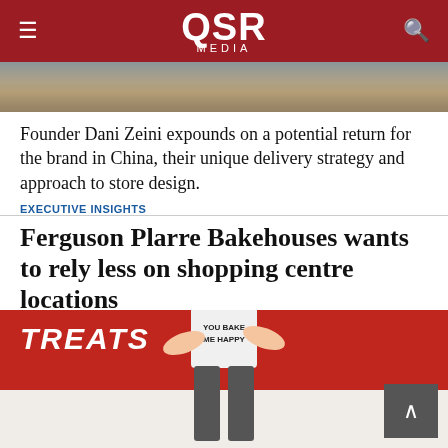QSR MEDIA
[Figure (photo): Top partial image of a restaurant or store interior]
Founder Dani Zeini expounds on a potential return for the brand in China, their unique delivery strategy and approach to store design.
EXECUTIVE INSIGHTS
Ferguson Plarre Bakehouses wants to rely less on shopping centre locations
[Figure (photo): Person smiling with arms crossed wearing a white t-shirt reading 'YOU BAKE ME HAPPY', standing in front of a red wall with TREATS signage]